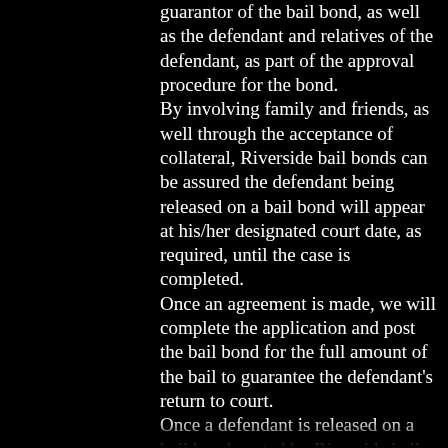guarantor of the bail bond, as well as the defendant and relatives of the defendant, as part of the approval procedure for the bond. By involving family and friends, as well through the acceptance of collateral, Riverside bail bonds can be assured the defendant being released on a bail bond will appear at his/her designated court date, as required, until the case is completed. Once an agreement is made, we will complete the application and post the bail bond for the full amount of the bail to guarantee the defendant's return to court. Once a defendant is released on a bail bond posted by Riverside bail bonds. they will meet with an agent to be interviewed and go over the terms and conditions of bail Just like you would with Faustos bail bonds or Bail Hotline